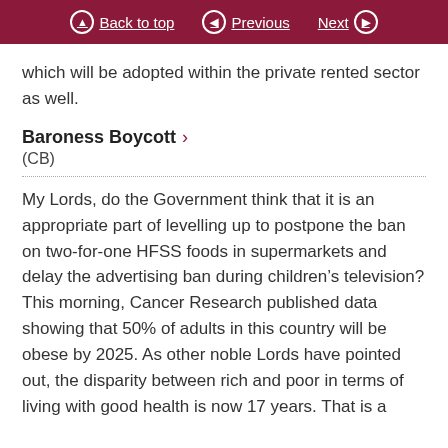Back to top  Previous  Next
which will be adopted within the private rented sector as well.
Baroness Boycott
(CB)
My Lords, do the Government think that it is an appropriate part of levelling up to postpone the ban on two-for-one HFSS foods in supermarkets and delay the advertising ban during children's television? This morning, Cancer Research published data showing that 50% of adults in this country will be obese by 2025. As other noble Lords have pointed out, the disparity between rich and poor in terms of living with good health is now 17 years. That is a